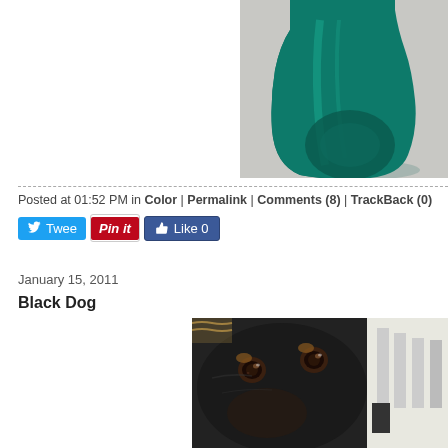[Figure (photo): Close-up photo of a teal/dark green glass bottle against a gray background, cropped to show upper portion]
Posted at 01:52 PM in Color | Permalink | Comments (8) | TrackBack (0)
[Figure (other): Social media buttons: Tweet, Pin it, Like 0]
January 15, 2011
Black Dog
[Figure (photo): Close-up photo of a black dog's face with brown eyes, looking at camera]